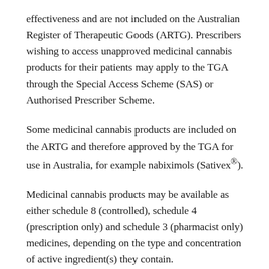effectiveness and are not included on the Australian Register of Therapeutic Goods (ARTG). Prescribers wishing to access unapproved medicinal cannabis products for their patients may apply to the TGA through the Special Access Scheme (SAS) or Authorised Prescriber Scheme.
Some medicinal cannabis products are included on the ARTG and therefore approved by the TGA for use in Australia, for example nabiximols (Sativex®).
Medicinal cannabis products may be available as either schedule 8 (controlled), schedule 4 (prescription only) and schedule 3 (pharmacist only) medicines, depending on the type and concentration of active ingredient(s) they contain.
All other forms of cannabis cannot be prescribed for